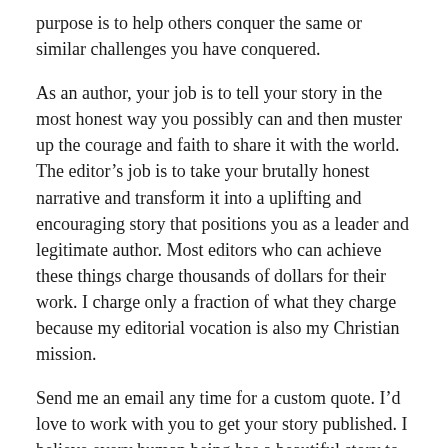purpose is to help others conquer the same or similar challenges you have conquered.
As an author, your job is to tell your story in the most honest way you possibly can and then muster up the courage and faith to share it with the world. The editor’s job is to take your brutally honest narrative and transform it into a uplifting and encouraging story that positions you as a leader and legitimate author. Most editors who can achieve these things charge thousands of dollars for their work. I charge only a fraction of what they charge because my editorial vocation is also my Christian mission.
Send me an email any time for a custom quote. I’d love to work with you to get your story published. I believe every human being has a beautiful story to tell, and my goal is to help as many people as possible share their stories.